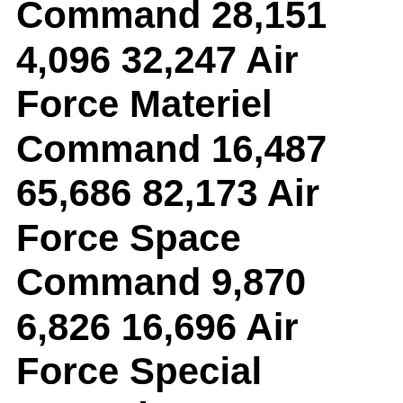Command 28,151 4,096 32,247 Air Force Materiel Command 16,487 65,686 82,173 Air Force Space Command 9,870 6,826 16,696 Air Force Special Operations Command 14,949 1,771 16,720 Air Mobility Command 40,843 7,875 48,718